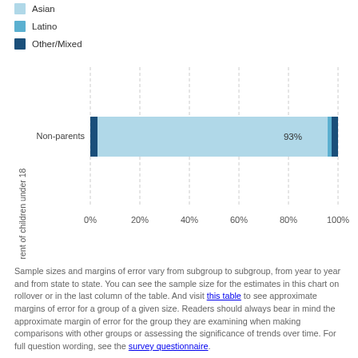Asian
Latino
Other/Mixed
[Figure (stacked-bar-chart): ]
Sample sizes and margins of error vary from subgroup to subgroup, from year to year and from state to state. You can see the sample size for the estimates in this chart on rollover or in the last column of the table. And visit this table to see approximate margins of error for a group of a given size. Readers should always bear in mind the approximate margin of error for the group they are examining when making comparisons with other groups or assessing the significance of trends over time. For full question wording, see the survey questionnaire.